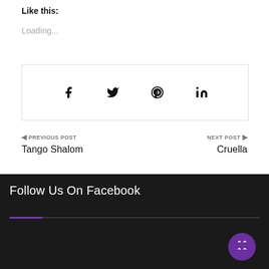Like this:
Loading...
[Figure (other): Social share bar with Facebook, Twitter, Pinterest, and LinkedIn icons inside a bordered box]
◄ PREVIOUS POST
Tango Shalom
NEXT POST ►
Cruella
Follow Us On Facebook
[Figure (other): Purple and grey horizontal divider line below Follow Us On Facebook heading]
[Figure (other): Purple circular scroll-to-top button with upward chevron arrows]